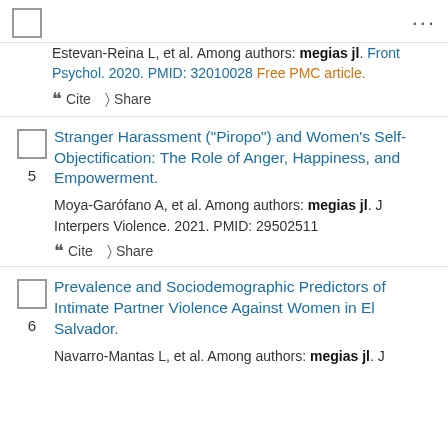Estevan-Reina L, et al. Among authors: megias jl. Front Psychol. 2020. PMID: 32010028 Free PMC article.
Cite  Share
Stranger Harassment ("Piropo") and Women's Self-Objectification: The Role of Anger, Happiness, and Empowerment.
Moya-Garófano A, et al. Among authors: megias jl. J Interpers Violence. 2021. PMID: 29502511
Cite  Share
Prevalence and Sociodemographic Predictors of Intimate Partner Violence Against Women in El Salvador.
Navarro-Mantas L, et al. Among authors: megias jl. J